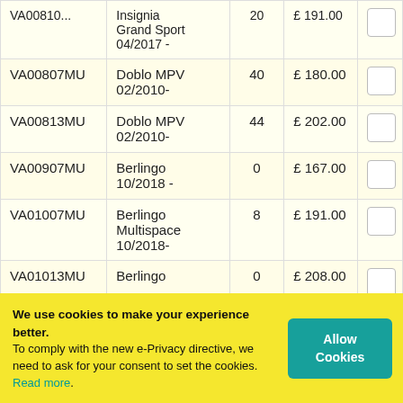| Code | Description | Qty | Price |  |
| --- | --- | --- | --- | --- |
| VA00810... | Insignia Grand Sport 04/2017 - | 20 | £ 191.00 |  |
| VA00807MU | Doblo MPV 02/2010- | 40 | £ 180.00 |  |
| VA00813MU | Doblo MPV 02/2010- | 44 | £ 202.00 |  |
| VA00907MU | Berlingo 10/2018 - | 0 | £ 167.00 |  |
| VA01007MU | Berlingo Multispace 10/2018- | 8 | £ 191.00 |  |
| VA01013MU | Berlingo ... | 0 | £ 208.00 |  |
We use cookies to make your experience better. To comply with the new e-Privacy directive, we need to ask for your consent to set the cookies. Read more.